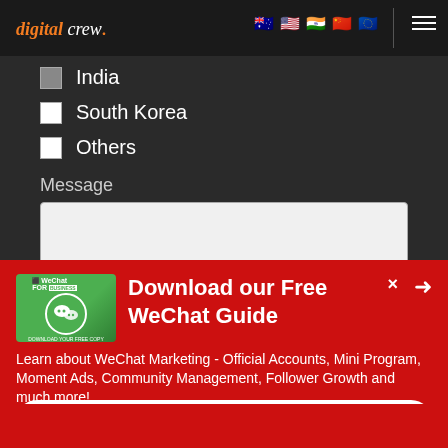digital crew. [navigation with flags and hamburger menu]
India (partially checked)
South Korea
Others
Message
[Figure (screenshot): Text area input box for message]
Download our Free WeChat Guide
Learn about WeChat Marketing - Official Accounts, Mini Program, Moment Ads, Community Management, Follower Growth and much more!
Download Now→